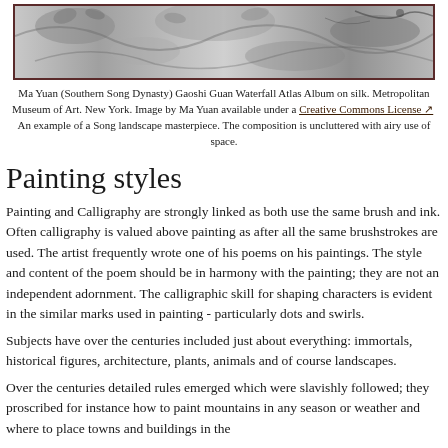[Figure (photo): A Chinese ink painting on silk showing landscape with foliage and birds, by Ma Yuan from the Southern Song Dynasty.]
Ma Yuan (Southern Song Dynasty) Gaoshi Guan Waterfall Atlas Album on silk. Metropolitan Museum of Art. New York. Image by Ma Yuan available under a Creative Commons License ↗  An example of a Song landscape masterpiece. The composition is uncluttered with airy use of space.
Painting styles
Painting and Calligraphy are strongly linked as both use the same brush and ink. Often calligraphy is valued above painting as after all the same brushstrokes are used. The artist frequently wrote one of his poems on his paintings. The style and content of the poem should be in harmony with the painting; they are not an independent adornment. The calligraphic skill for shaping characters is evident in the similar marks used in painting - particularly dots and swirls.
Subjects have over the centuries included just about everything: immortals, historical figures, architecture, plants, animals and of course landscapes.
Over the centuries detailed rules emerged which were slavishly followed; they proscribed for instance how to paint mountains in any season or weather and where to place towns and buildings in the